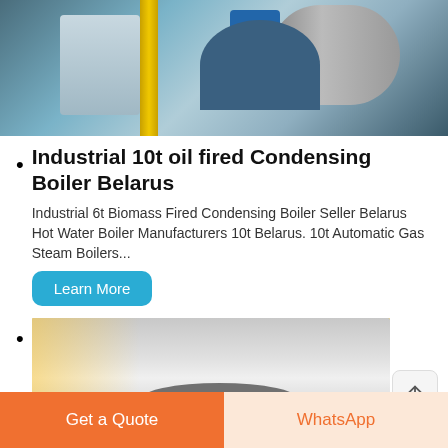[Figure (photo): Industrial boiler room with large cylindrical boiler, blue electric motor, yellow pipe, and gray machinery in a factory setting]
Industrial 10t oil fired Condensing Boiler Belarus
Industrial 6t Biomass Fired Condensing Boiler Seller Belarus Hot Water Boiler Manufacturers 10t Belarus. 10t Automatic Gas Steam Boilers...
Learn More
[Figure (photo): Industrial boiler facility interior with yellow structural beams and white cylindrical boiler units viewed from below/side angle]